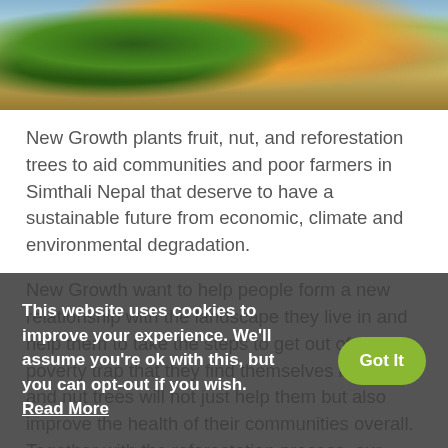[Figure (photo): A person wearing an orange floral top and a light blue headscarf, carrying green tree saplings or plants, standing outdoors in a field or agricultural area in Nepal.]
New Growth plants fruit, nut, and reforestation trees to aid communities and poor farmers in Simthali Nepal that deserve to have a sustainable future from economic, climate and environmental degradation.
New Growth want to help people form a new relationship with the landscape they live in and help them to take the steps to get out of the poverty trap that they find themselves in. Fruit and nut trees will not just help them but also improve the health of their communities overall. Together with the reforestation process, our vision is that each tree planted will improve the lives of people one tree at a time, your support and understanding will make this happen.
This website uses cookies to improve your experience. We'll assume you're ok with this, but you can opt-out if you wish. Read More    Got It